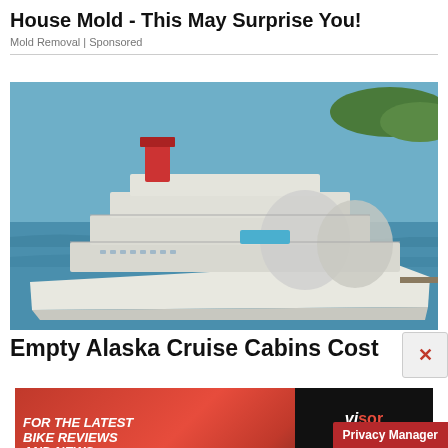House Mold - This May Surprise You!
Mold Removal | Sponsored
[Figure (photo): Aerial view of a large luxury cruise ship on blue water near a coastline]
Empty Alaska Cruise Cabins Cost
[Figure (infographic): Visordown advertisement banner: 'For the latest bike reviews and news' with Visordown logo and YouTube icon on dark/red background]
Privacy Manager